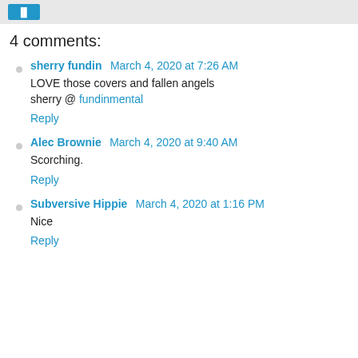4 comments:
sherry fundin March 4, 2020 at 7:26 AM
LOVE those covers and fallen angels sherry @ fundinmental
Reply
Alec Brownie March 4, 2020 at 9:40 AM
Scorching.
Reply
Subversive Hippie March 4, 2020 at 1:16 PM
Nice
Reply